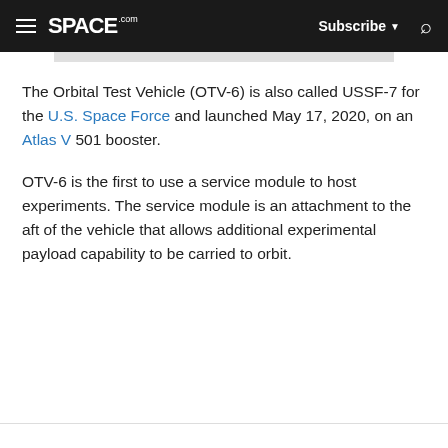SPACE.com — Subscribe | Search
The Orbital Test Vehicle (OTV-6) is also called USSF-7 for the U.S. Space Force and launched May 17, 2020, on an Atlas V 501 booster.
OTV-6 is the first to use a service module to host experiments. The service module is an attachment to the aft of the vehicle that allows additional experimental payload capability to be carried to orbit.